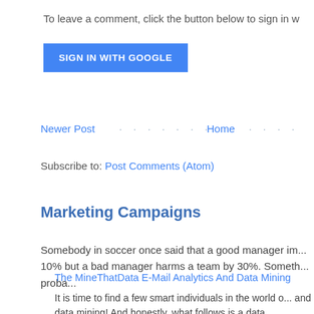To leave a comment, click the button below to sign in w
SIGN IN WITH GOOGLE
Newer Post · · · · · · · Home · · · ·
Subscribe to: Post Comments (Atom)
Marketing Campaigns
Somebody in soccer once said that a good manager im... 10% but a bad manager harms a team by 30%. Someth... proba...
The MineThatData E-Mail Analytics And Data Mining
It is time to find a few smart individuals in the world o... and data mining! And honestly, what follows is a data...
Memorial Day Weekend